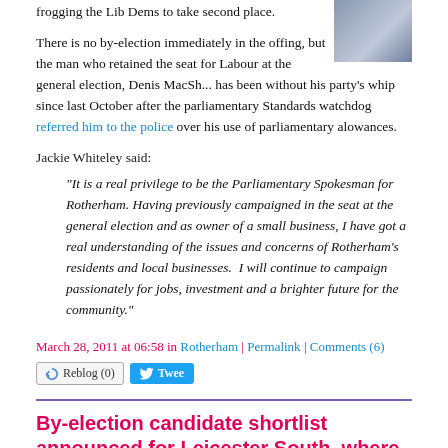frogging the Lib Dems to take second place.
[Figure (photo): Partial photo of a woman in a patterned top, cropped at top right of article]
There is no by-election immediately in the offing, but the man who retained the seat for Labour at the general election, Denis MacSh... has been without his party's whip since last October after the parliamentary Standards watchdog referred him to the police over his use of parliamentary alowances.
Jackie Whiteley said:
“It is a real privilege to be the Parliamentary Spokesman for Rotherham. Having previously campaigned in the seat at the general election and as owner of a small business, I have got a real understanding of the issues and concerns of Rotherham’s residents and local businesses.  I will continue to campaign passionately for jobs, investment and a brighter future for the community.”
March 28, 2011 at 06:58 in Rotherham | Permalink | Comments (6)
By-election candidate shortlist announced for Leicester South, where voters will have four votes May 5th
By Jonathan Isaby